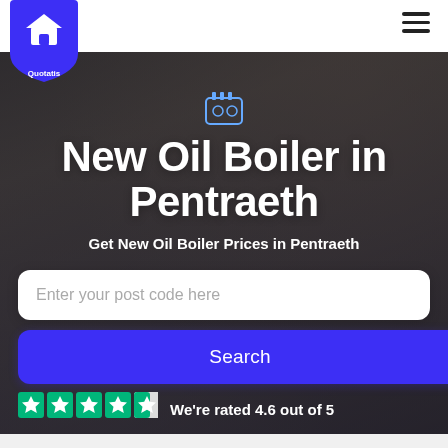[Figure (logo): Quotatis logo — white house icon on blue shield/badge shape with 'Quotatis' text below]
New Oil Boiler in Pentraeth
Get New Oil Boiler Prices in Pentraeth
Enter your post code here
Search
We're rated 4.6 out of 5